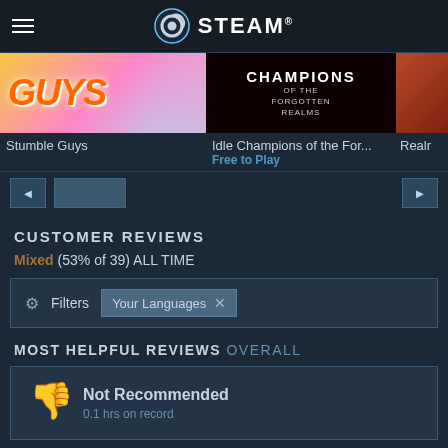STEAM
[Figure (screenshot): Game cards strip showing Stumble Guys, Idle Champions of the Forgotten Realms (Free to Play), and a partially visible third game]
Stumble Guys
Idle Champions of the For...
Free to Play
Realr
CUSTOMER REVIEWS
Mixed (53% of 39) ALL TIME
Filters  Your Languages ×
MOST HELPFUL REVIEWS  OVERALL
Not Recommended
0.1 hrs on record
Silver Surf Punk | 220 products in account | 77 reviews